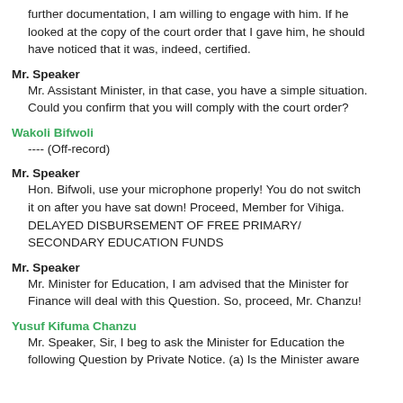further documentation, I am willing to engage with him. If he looked at the copy of the court order that I gave him, he should have noticed that it was, indeed, certified.
Mr. Speaker
Mr. Assistant Minister, in that case, you have a simple situation. Could you confirm that you will comply with the court order?
Wakoli Bifwoli
---- (Off-record)
Mr. Speaker
Hon. Bifwoli, use your microphone properly! You do not switch it on after you have sat down! Proceed, Member for Vihiga. DELAYED DISBURSEMENT OF FREE PRIMARY/ SECONDARY EDUCATION FUNDS
Mr. Speaker
Mr. Minister for Education, I am advised that the Minister for Finance will deal with this Question. So, proceed, Mr. Chanzu!
Yusuf Kifuma Chanzu
Mr. Speaker, Sir, I beg to ask the Minister for Education the following Question by Private Notice. (a) Is the Minister aware